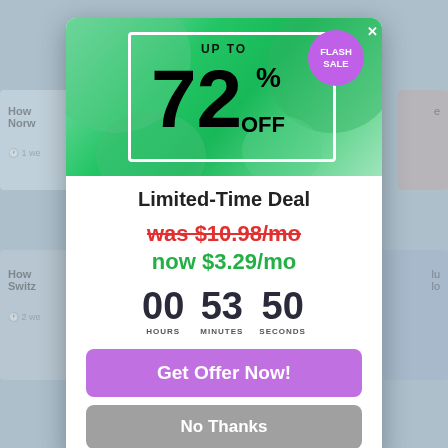[Figure (screenshot): Flash sale popup modal with green banner showing 'UP TO 72% OFF', a purple 'FLASH SALE' badge, pricing 'was $10.98/mo' in red strikethrough and 'now $3.29/mo' in green, countdown timer showing 00 HOURS 53 MINUTES 50 SECONDS, a purple 'Get Offer Now!' button, and a grey 'No Thanks' button. Behind the modal is a blurred webpage background.]